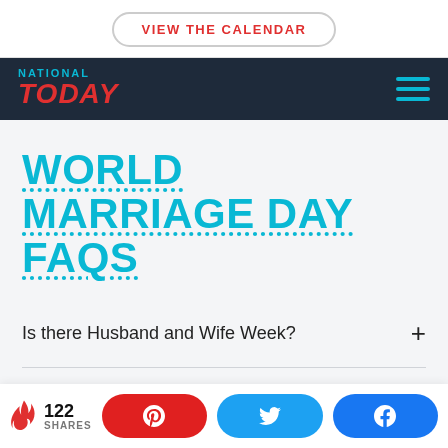VIEW THE CALENDAR
[Figure (logo): National Today logo with navigation bar]
WORLD MARRIAGE DAY FAQS
Is there Husband and Wife Week?
Is today National Marriage Day?
122 SHARES